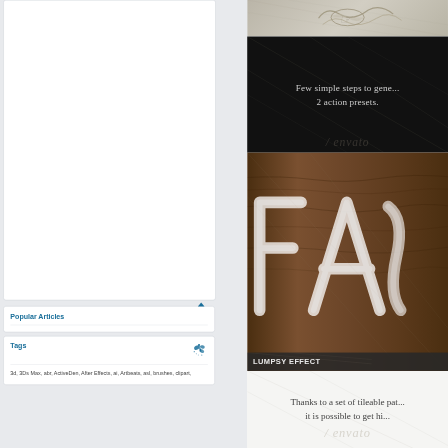[Figure (screenshot): White content panel (left sidebar) - empty white box with rounded corners and light border]
Popular Articles
Tags
3d, 3Ds Max, abr, ActiveDen, After Effects, ai, Artbeats, asl, brushes, clipart,
[Figure (photo): Top right: decorative ornamental carving on light stone/plaster background]
[Figure (photo): Dark panel with text: Few simple steps to gene... 2 action presets. Envato watermark.]
[Figure (photo): Wood texture background with snow/sugar text effect showing large letters]
LUMPSY EFFECT
Thanks to a set of tileable pat... it is possible to get hi... Envato watermark.